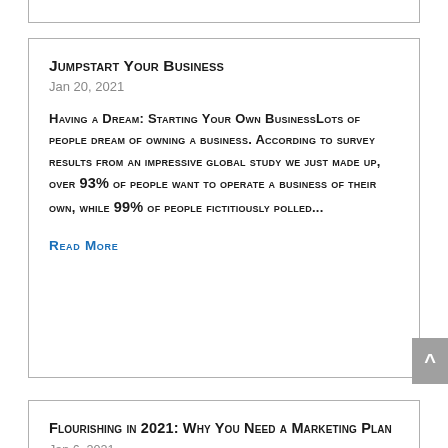Jumpstart Your Business
Jan 20, 2021
Having a Dream: Starting Your Own BusinessLots of people dream of owning a business. According to survey results from an impressive global study we just made up, over 93% of people want to operate a business of their own, while 99% of people fictitiously polled...
READ MORE
Flourishing in 2021: Why You Need a Marketing Plan
Jan 6, 2021